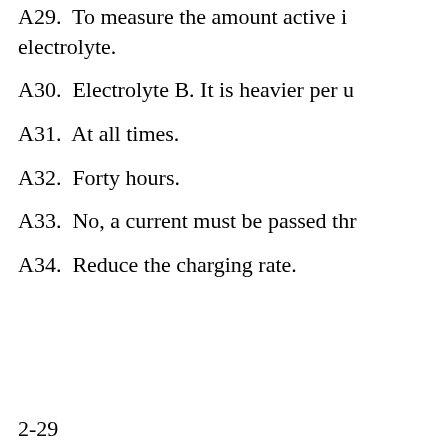A29.  To measure the amount active in electrolyte.
A30.  Electrolyte B. It is heavier per u
A31.  At all times.
A32.  Forty hours.
A33.  No, a current must be passed thr
A34.  Reduce the charging rate.
2-29